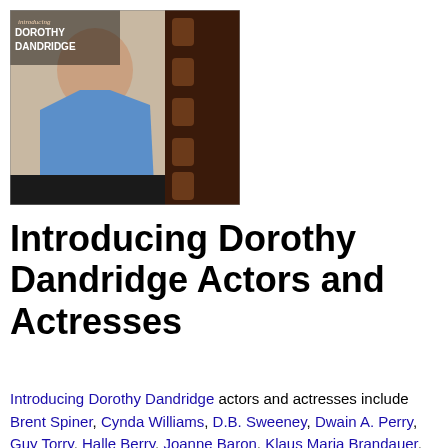[Figure (photo): Movie cover image for 'Introducing Dorothy Dandridge' showing a woman in a blue halter top with film strip graphic and text overlay reading 'introducing DOROTHY DANDRIDGE']
Introducing Dorothy Dandridge Actors and Actresses
Introducing Dorothy Dandridge actors and actresses include Brent Spiner, Cynda Williams, D.B. Sweeney, Dwain A. Perry, Guy Torry, Halle Berry, Joanne Baron, Klaus Maria Brandauer, LaTanya Richardson, Mark Bramhall, Obba Babatundé, Tom